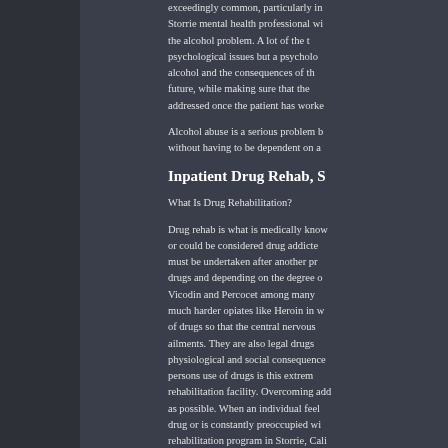exceedingly common, particularly in Storrie mental health professional wi the alcohol problem. A lot of the t psychological issues but a psycholo alcohol and the consequences of th future, while making sure that the addressed once the patient has worke
Alcohol abuse is a serious problem b without having to be dependent on a
Inpatient Drug Rehab, S
What Is Drug Rehabilitation?
Drug rehab is what is medically know or could be considered drug addicte must be undertaken after another pr drugs and depending on the degree o Vicodin and Percocet among many much harder opiates like Heroin in w of drugs so that the central nervous ailments. They are also legal drugs physiological and social consequence persons use of drugs is this extrem rehabilitation facility. Overcoming add as possible. When an individual feel drug or is constantly preoccupied wi rehabilitation program in Storrie, Cali
What are the types of Drug Rehab?
Drug rehabilitation is a complex issue There are quite a few takes and way or drug dependency problem.
What Is Outpatient Rehab?